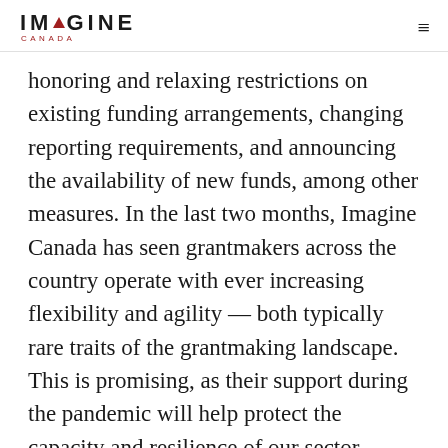Imagine Canada
honoring and relaxing restrictions on existing funding arrangements, changing reporting requirements, and announcing the availability of new funds, among other measures. In the last two months, Imagine Canada has seen grantmakers across the country operate with ever increasing flexibility and agility — both typically rare traits of the grantmaking landscape. This is promising, as their support during the pandemic will help protect the capacity and resilience of our sector.
Kyra Tudlong from our Grant Connect team recently sat down (virtually, of course!) with Peter Hoppe, a seasoned grant writer and fundraising